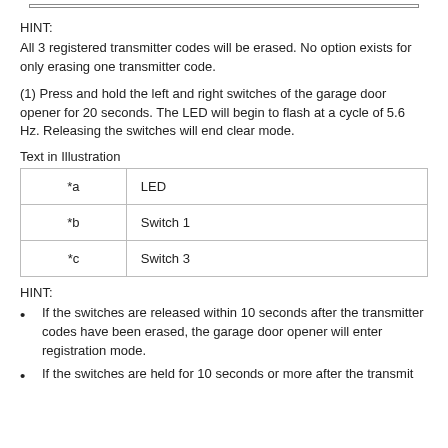HINT:
All 3 registered transmitter codes will be erased. No option exists for only erasing one transmitter code.
(1) Press and hold the left and right switches of the garage door opener for 20 seconds. The LED will begin to flash at a cycle of 5.6 Hz. Releasing the switches will end clear mode.
Text in Illustration
| *a | LED |
| *b | Switch 1 |
| *c | Switch 3 |
HINT:
If the switches are released within 10 seconds after the transmitter codes have been erased, the garage door opener will enter registration mode.
If the switches are held for 10 seconds...